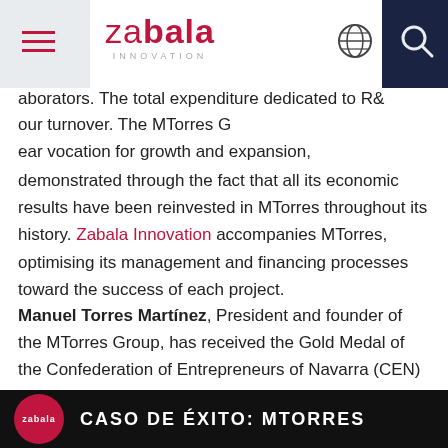zabala INNOVATION [navigation bar with hamburger menu, globe icon, search icon]
aborators. The total expenditure dedicated to R& our turnover. The MTorres G ear vocation for growth and expansion, demonstrated through the fact that all its economic results have been reinvested in MTorres throughout its history. Zabala Innovation accompanies MTorres, optimising its management and financing processes toward the success of each project.
Manuel Torres Martínez, President and founder of the MTorres Group, has received the Gold Medal of the Confederation of Entrepreneurs of Navarra (CEN) from the hands of Felipe VI. With the simplicity and geniality that characterises him, in this video, he describes Mtorres' collaboration with Zabala Innovation.
CASO DE ÉXITO: MTORRES